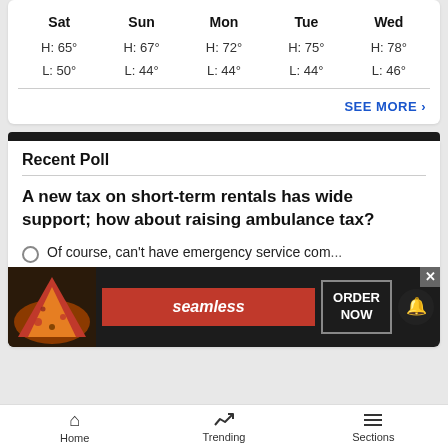| Sat | Sun | Mon | Tue | Wed |
| --- | --- | --- | --- | --- |
| H: 65° | H: 67° | H: 72° | H: 75° | H: 78° |
| L: 50° | L: 44° | L: 44° | L: 44° | L: 46° |
SEE MORE ›
Recent Poll
A new tax on short-term rentals has wide support; how about raising ambulance tax?
Of course, can't have emergency service com...
[Figure (infographic): Seamless food delivery advertisement banner with pizza image, Seamless logo, and ORDER NOW button]
Home  Trending  Sections